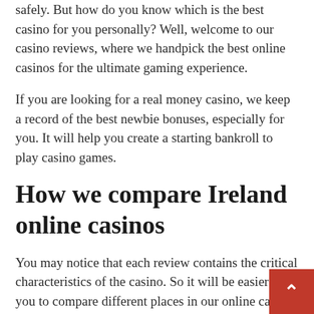safely. But how do you know which is the best casino for you personally? Well, welcome to our casino reviews, where we handpick the best online casinos for the ultimate gaming experience.
If you are looking for a real money casino, we keep a record of the best newbie bonuses, especially for you. It will help you create a starting bankroll to play casino games.
How we compare Ireland online casinos
You may notice that each review contains the critical characteristics of the casino. So it will be easier for you to compare different places in our online casin... The main points that affect the rating of the ca...